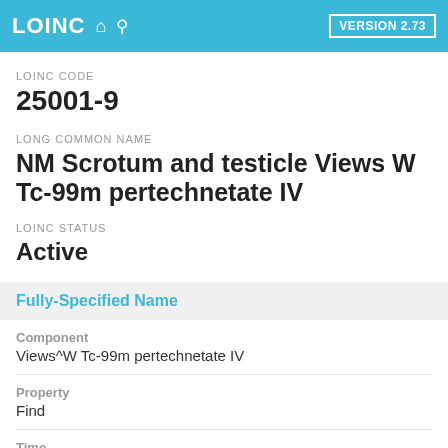LOINC  VERSION 2.73
LOINC CODE
25001-9
LONG COMMON NAME
NM Scrotum and testicle Views W Tc-99m pertechnetate IV
LOINC STATUS
Active
Fully-Specified Name
Component
Views^W Tc-99m pertechnetate IV
Property
Find
Time